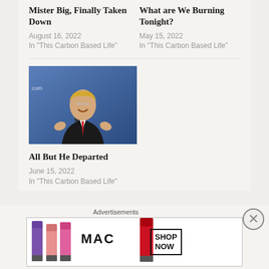Mister Big, Finally Taken Down
August 16, 2022
In "This Carbon Based Life"
What are We Burning Tonight?
May 15, 2022
In "This Carbon Based Life"
[Figure (photo): Man in dark suit with red tie appearing to speak angrily at a podium, blue background with text partially visible]
All But He Departed
June 15, 2022
In "This Carbon Based Life"
Advertisements
[Figure (photo): MAC Cosmetics advertisement banner showing lipsticks in purple, pink, and red colors with MAC logo and SHOP NOW button]